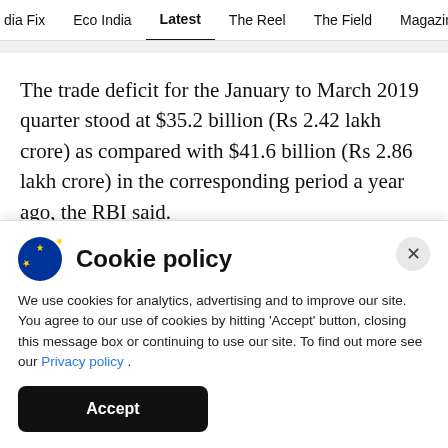dia Fix  Eco India  Latest  The Reel  The Field  Magazine
The trade deficit for the January to March 2019 quarter stood at $35.2 billion (Rs 2.42 lakh crore) as compared with $41.6 billion (Rs 2.86 lakh crore) in the corresponding period a year ago, the RBI said.
Meanwhile, net Foreign Direct Investment inflows
[Figure (other): Cookie policy popup with EU logo, close button, policy text with Privacy policy link, and Accept button]
Cookie policy
We use cookies for analytics, advertising and to improve our site. You agree to our use of cookies by hitting 'Accept' button, closing this message box or continuing to use our site. To find out more see our Privacy policy .
Accept